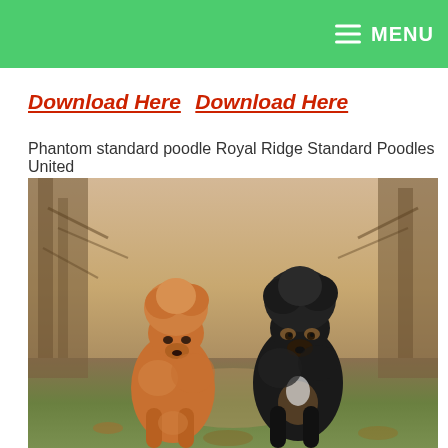MENU
Download Here  Download Here
Phantom standard poodle Royal Ridge Standard Poodles United
[Figure (photo): Two standard poodles sitting outdoors on a path surrounded by bare trees. One poodle is brown/apricot colored on the left, and one is black with a phantom pattern on the right.]